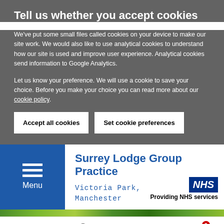Tell us whether you accept cookies
We've put some small files called cookies on your device to make our site work. We would also like to use analytical cookies to understand how our site is used and improve user experience. Analytical cookies send information to Google Analytics.
Let us know your preference. We will use a cookie to save your choice. Before you make your choice you can read more about our cookie policy.
Accept all cookies
Set cookie preferences
Menu
Surrey Lodge Group Practice
Victoria Park, Manchester
[Figure (logo): NHS logo box with text 'NHS' in italic bold white on dark blue background, with 'Providing NHS services' below]
[Figure (illustration): Green foliage/leaves decorative bar]
Phone
Location
Message
News